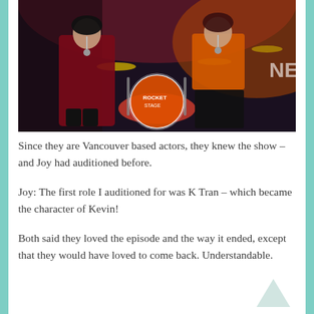[Figure (photo): Two women sitting on stage in front of drum kit. One wearing red jacket, one wearing orange top and black pants. A drum with 'Rocket Stage' logo visible in background.]
Since they are Vancouver based actors, they knew the show – and Joy had auditioned before.
Joy: The first role I auditioned for was K Tran – which became the character of Kevin!
Both said they loved the episode and the way it ended, except that they would have loved to come back. Understandable.